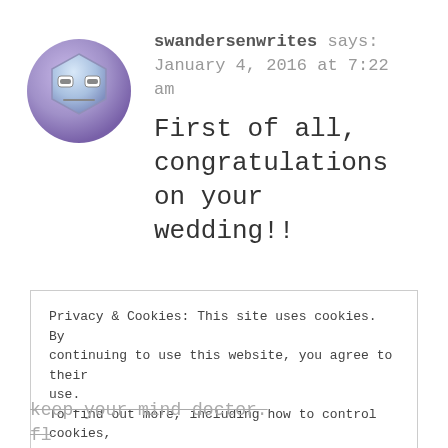[Figure (illustration): A cartoon avatar of a blue hexagonal face with a bored or tired expression, surrounded by a purple circular background.]
swandersenwrites says:
January 4, 2016 at 7:22 am
First of all, congratulations on your wedding!!
Privacy & Cookies: This site uses cookies. By continuing to use this website, you agree to their use.
To find out more, including how to control cookies, see here: Cookie Policy
Close and accept